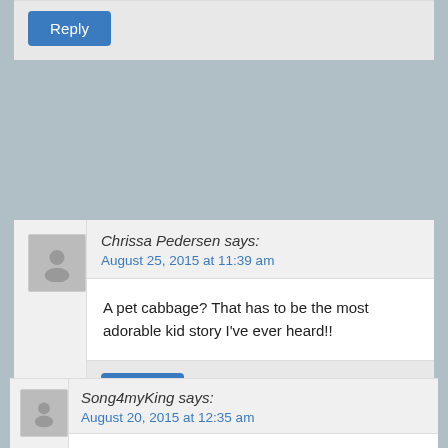Reply
Chrissa Pedersen says:
August 25, 2015 at 11:39 am
A pet cabbage? That has to be the most adorable kid story I've ever heard!!
Reply
Song4myKing says:
August 20, 2015 at 12:35 am